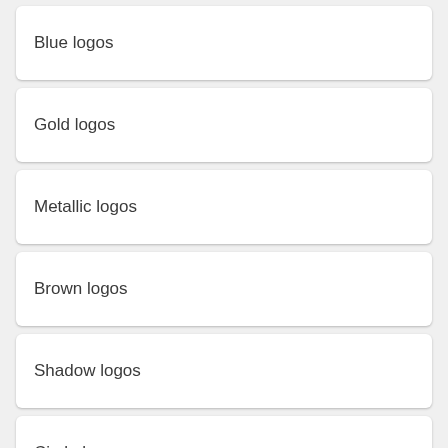Blue logos
Gold logos
Metallic logos
Brown logos
Shadow logos
Circle logos
Music logos